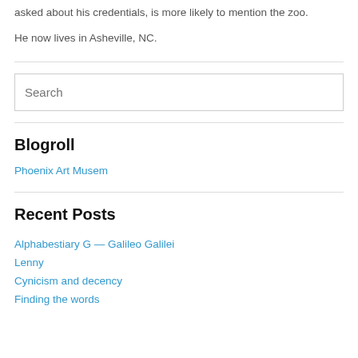asked about his credentials, is more likely to mention the zoo.
He now lives in Asheville, NC.
Search
Blogroll
Phoenix Art Musem
Recent Posts
Alphabestiary G — Galileo Galilei
Lenny
Cynicism and decency
Finding the words